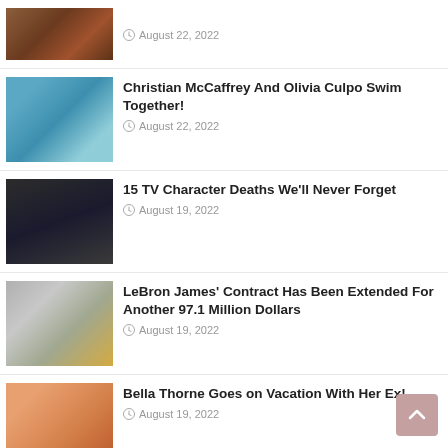[Figure (photo): Brown/reddish animal photo, partially cropped at top]
August 22, 2022
[Figure (photo): Woman near water, blue background]
Christian McCaffrey And Olivia Culpo Swim Together!
August 22, 2022
[Figure (photo): Dark scene, TV show character death themed]
15 TV Character Deaths We'll Never Forget
August 19, 2022
[Figure (photo): LeBron James in Lakers jersey surrounded by money]
LeBron James' Contract Has Been Extended For Another 97.1 Million Dollars
August 19, 2022
[Figure (photo): Bella Thorne with red/orange hair]
Bella Thorne Goes on Vacation With Her Ex!
August 19, 2022
[Figure (photo): Adele photo with red backdrop]
The Hottest Photos Of Adele
August 18, 2022